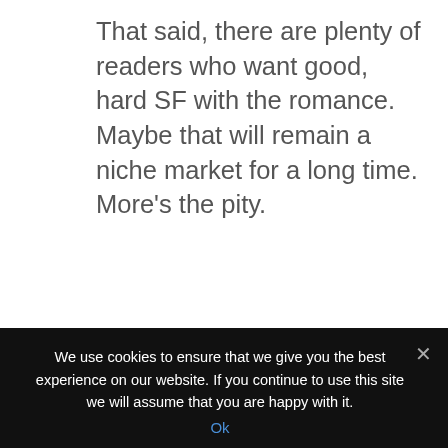That said, there are plenty of readers who want good, hard SF with the romance. Maybe that will remain a niche market for a long time. More's the pity.
[Figure (other): A blue Reply button]
Rinelle Grey on April 1, 2013 at 11:59 am
We use cookies to ensure that we give you the best experience on our website. If you continue to use this site we will assume that you are happy with it.
Ok